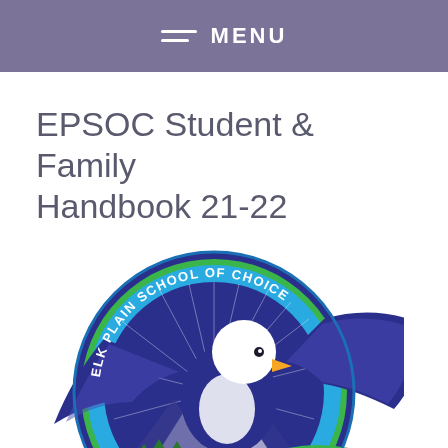MENU
EPSOC Student & Family Handbook 21-22
[Figure (logo): Elk Plain School of Choice circular logo featuring an eagle with spread wings over mountains and pine trees, with text 'ELK PLAIN SCHOOL OF CHOICE' around the border and 'K-8' on a green banner. Colors: blue, purple, green, white.]